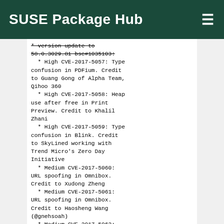SUSE Package Hub
* version update to 58.0.3029.81 bsc#1035103:
  * High CVE-2017-5057: Type confusion in PDFium. Credit to Guang Gong of Alpha Team, Qihoo 360
  * High CVE-2017-5058: Heap use after free in Print Preview. Credit to Khalil Zhani
  * High CVE-2017-5059: Type confusion in Blink. Credit to SkyLined working with Trend Micro's Zero Day Initiative
  * Medium CVE-2017-5060: URL spoofing in Omnibox. Credit to Xudong Zheng
  * Medium CVE-2017-5061: URL spoofing in Omnibox. Credit to Haosheng Wang (@gnehsoah)
  * Medium CVE-2017-5062: Use after free in Chrome Apps. Credit to anonymous
  * Medium CVE-2017-5063: Heap overflow in Skia. Credit to Sweetchip
  * Medium CVE-2017-5064: Use after free in Blink. Credit to Wadih Matar
  * Medium CVE-2017-5065: Incorrect UI in Blink. Credit to Khalil Zhani